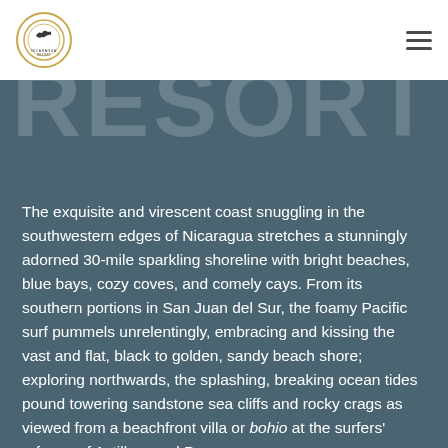[Figure (logo): Nicaragua resort circular logo with bird icon and border]
RESORT
The exquisite and virescent coast snuggling in the southwestern edges of Nicaragua stretches a stunningly adorned 30-mile sparkling shoreline with bright beaches, blue bays, cozy coves, and comely cays. From its southern portions in San Juan del Sur, the foamy Pacific surf pummels unrelentingly, embracing and kissing the vast and flat, black to golden, sandy beach shore; exploring northwards, the splashing, breaking ocean tides pound towering sandstone sea cliffs and rocky crags as viewed from a beachfront villa or bohio at the surfers' refuges of Astillero and Popoyo.
In between, forested hills and pristine jungles flourish as hallowed natural habitats for a cornucopia of wildlife species; and befit as lush, verdant draperies for the mushrooming